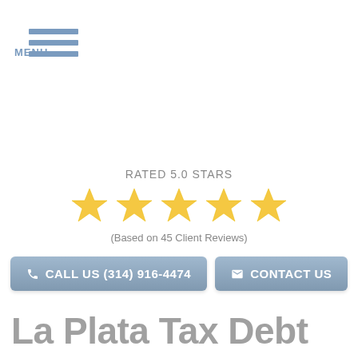MENU
RATED 5.0 STARS
[Figure (other): Five gold/yellow star rating icons in a row]
(Based on 45 Client Reviews)
CALL US (314) 916-4474
CONTACT US
La Plata Tax Debt